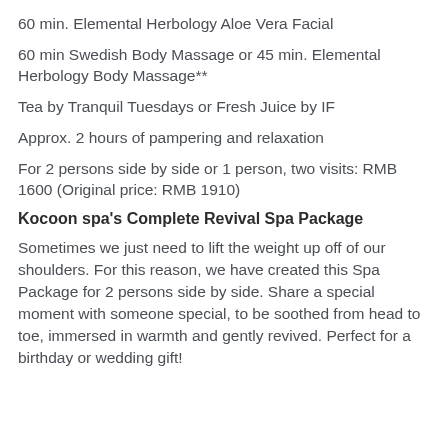60 min. Elemental Herbology Aloe Vera Facial
60 min Swedish Body Massage or 45 min. Elemental Herbology Body Massage**
Tea by Tranquil Tuesdays or Fresh Juice by IF
Approx. 2 hours of pampering and relaxation
For 2 persons side by side or 1 person, two visits: RMB 1600 (Original price: RMB 1910)
Kocoon spa's Complete Revival Spa Package
Sometimes we just need to lift the weight up off of our shoulders. For this reason, we have created this Spa Package for 2 persons side by side. Share a special moment with someone special, to be soothed from head to toe, immersed in warmth and gently revived. Perfect for a birthday or wedding gift!